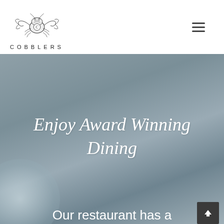[Figure (logo): Cobblers restaurant logo featuring an ornate crab illustration above the text 'COBBLERS' in spaced capital letters]
Enjoy Award Winning Dining
Our restaurant has a